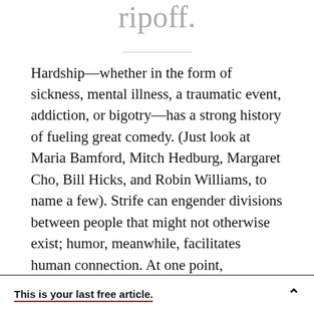own territory, it's no 30 Rock ripoff.
Hardship—whether in the form of sickness, mental illness, a traumatic event, addiction, or bigotry—has a strong history of fueling great comedy. (Just look at Maria Bamford, Mitch Hedburg, Margaret Cho, Bill Hicks, and Robin Williams, to name a few). Strife can engender divisions between people that might not otherwise exist; humor, meanwhile, facilitates human connection. At one point,
This is your last free article.